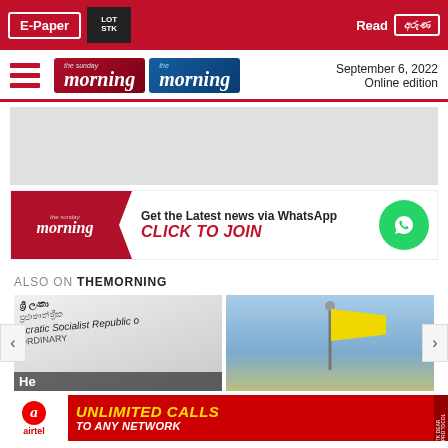E-Paper | Read [Sinhala logo]
[Figure (logo): The Sunday Morning and The Morning newspaper logos with hamburger menu, date September 6, 2022, Online edition]
[Figure (infographic): WhatsApp banner: Get the Latest news via WhatsApp CLICK TO JOIN]
ALSO ON THEMORNING
[Figure (photo): Thumbnail of Democratic Socialist Republic constitution document]
[Figure (photo): Thumbnail of yellow flag against blue sky]
[Figure (infographic): Airtel advertisement: UNLIMITED CALLS TO ANY NETWORK]